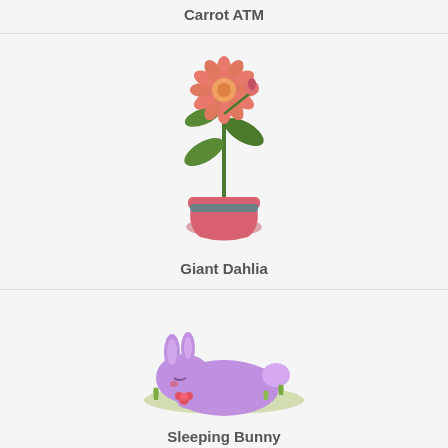Carrot ATM
[Figure (illustration): A potted plant with a pink-red dahlia flower on a green stem in a pink and teal pot]
Giant Dahlia
[Figure (illustration): A purple sleeping bunny curled up on grass with a small flower]
Sleeping Bunny
National Solitaire Day 2020
[Figure (illustration): Partial view of a game cartridge or box with green screen]